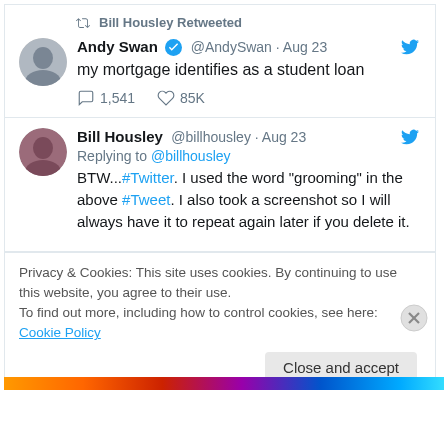[Figure (screenshot): Screenshot of Twitter/social media post by Andy Swan retweeted by Bill Housley. Tweet text: 'my mortgage identifies as a student loan'. 1,541 replies, 85K likes. Second tweet by Bill Housley replying to @billhousley with text about using word 'grooming'. Cookie consent bar at bottom with Close and accept button.]